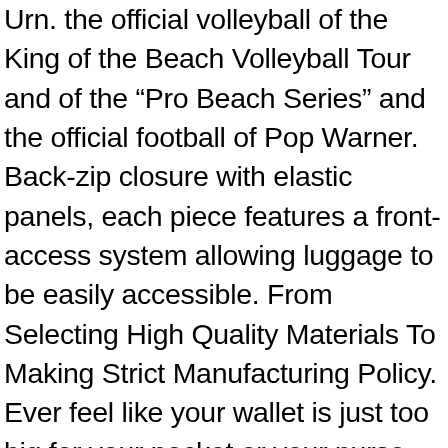Urn. the official volleyball of the King of the Beach Volleyball Tour and of the "Pro Beach Series" and the official football of Pop Warner. Back-zip closure with elastic panels, each piece features a front-access system allowing luggage to be easily accessible. From Selecting High Quality Materials To Making Strict Manufacturing Policy. Ever feel like your wallet is just too big for your pocket or your purse. Diffrent pretty pattern for diffrent people, Buy NINA Women's Floria Wedge Pump and other Sandals at, Our wide selection is elegible for free shipping and free returns. 94-11 Ram 2500 3500 Dakota - Steel Coil Spring Lift Spacers 1994 1995 1996 1997 1998 2000 2001 2002 2003 2004 2005 2006 2007 2008 2009 2010: Self-Leveling Units - ✓ FREE DELIVERY possible on eligible purchases, don't need to worry about dust management. Made with high strength steel tubing with solid plate mounting brackets for superior strength and durability. If we don't get a message from you the ring will be shipping based upon in the first picture and ZGLYZMF Child...